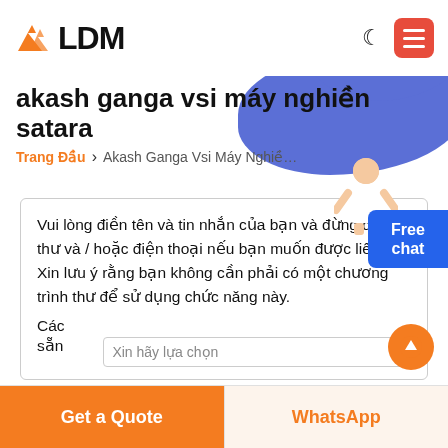LDM
akash ganga vsi máy nghiền satara
Trang Đầu > Akash Ganga Vsi Máy Nghiền Satara
Vui lòng điền tên và tin nhắn của bạn và đừng quên thư và / hoặc điện thoại nếu bạn muốn được liên lạc. Xin lưu ý rằng bạn không cần phải có một chương trình thư để sử dụng chức năng này.
Các
sẵn
Xin hãy lựa chọn
Get a Quote
WhatsApp